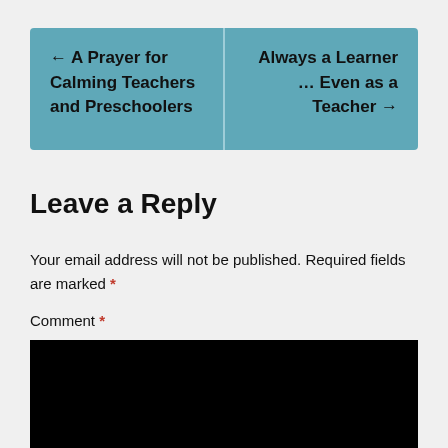← A Prayer for Calming Teachers and Preschoolers    Always a Learner … Even as a Teacher →
Leave a Reply
Your email address will not be published. Required fields are marked *
Comment *